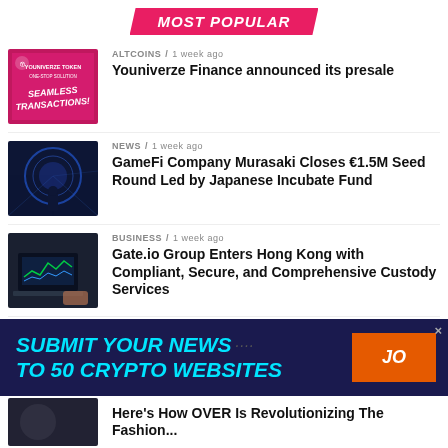MOST POPULAR
[Figure (photo): Pink/magenta promotional image for Youniverze Token with text 'YOUNIVERZE TOKEN', 'ONE-STOP SOLUTION', 'SEAMLESS TRANSACTIONS']
ALTCOINS / 1 week ago
Youniverze Finance announced its presale
[Figure (photo): Dark blue image of a person standing in front of a large glowing globe/sphere]
NEWS / 1 week ago
GameFi Company Murasaki Closes €1.5M Seed Round Led by Japanese Incubate Fund
[Figure (photo): Dark photo of a person's hands using a laptop with financial charts visible on screen]
BUSINESS / 1 week ago
Gate.io Group Enters Hong Kong with Compliant, Secure, and Comprehensive Custody Services
[Figure (photo): Red background partial thumbnail]
ALTCOINS / 5 days ago
[Figure (infographic): Dark navy advertisement banner: SUBMIT YOUR NEWS TO 50 CRYPTO WEBSITES with orange JO button and close X]
Here's How OVER Is Revolutionizing The Fashion...